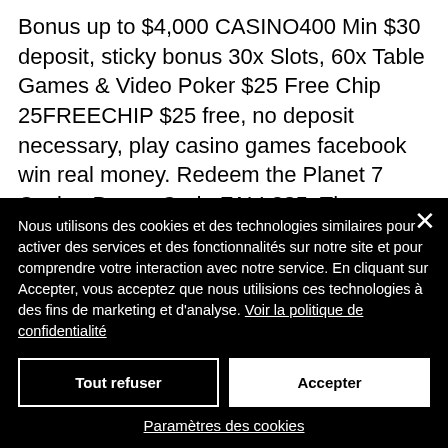Bonus up to $4,000 CASINO400 Min $30 deposit, sticky bonus 30x Slots, 60x Table Games & Video Poker $25 Free Chip 25FREECHIP $25 free, no deposit necessary, play casino games facebook win real money. Redeem the Planet 7 Casino Bonus Code FALL285. The maxiumum cashout will be $1000, mammoth slot machine big win. This total does not include...
Nous utilisons des cookies et des technologies similaires pour activer des services et des fonctionnalités sur notre site et pour comprendre votre interaction avec notre service. En cliquant sur Accepter, vous acceptez que nous utilisions ces technologies à des fins de marketing et d'analyse. Voir la politique de confidentialité
Tout refuser
Accepter
Paramètres des cookies